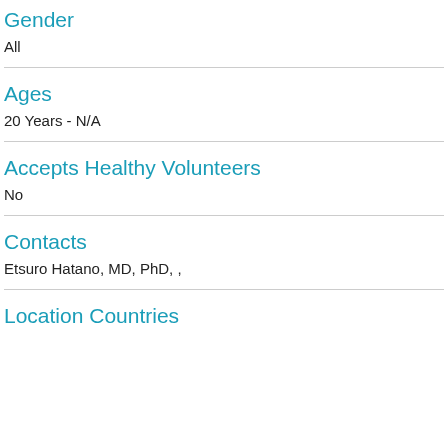Gender
All
Ages
20 Years - N/A
Accepts Healthy Volunteers
No
Contacts
Etsuro Hatano, MD, PhD, ,
Location Countries